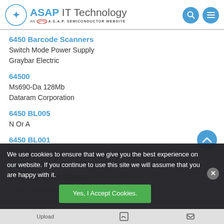ASAP IT Technology - AN A.S.A.P. SEMICONDUCTOR WEBSITE
6450 Barcode Scanners
Switch Mode Power Supply
Graybar Electric
64500
Ms690-Da 128Mb
Dataram Corporation
6450 BL005
N Or A
6450 BL001
N Or A
6450
Scientific Atlanta Chassis
Scientific Atlanta
Switch Mode Power Suppl
N Or A
We use cookies to ensure that we give you the best experience on our website. If you continue to use this site we will assume that you are happy with it.
Yes, I Accept Cookies.